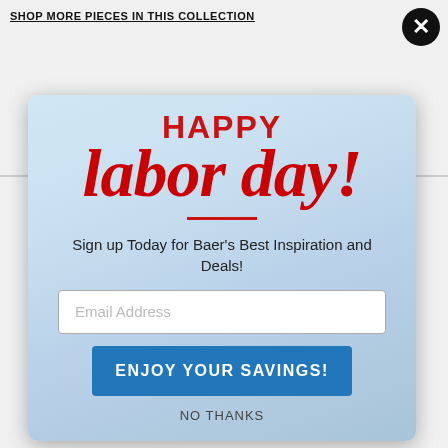SHOP MORE PIECES IN THIS COLLECTION
[Figure (screenshot): Modal popup with city skyline background showing Happy Labor Day promotion with email signup form]
HAPPY
labor day!
Sign up Today for Baer's Best Inspiration and Deals!
Email Address
ENJOY YOUR SAVINGS!
NO THANKS